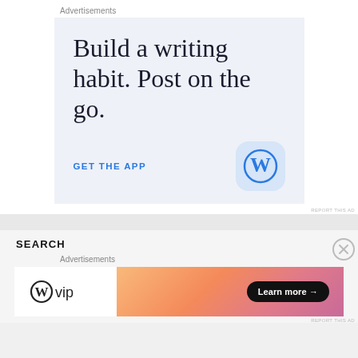Advertisements
[Figure (infographic): WordPress mobile app advertisement with light blue background. Large serif text reads 'Build a writing habit. Post on the go.' with 'GET THE APP' call to action link and WordPress logo icon in a rounded square.]
REPORT THIS AD
SEARCH
Advertisements
[Figure (infographic): WordPress VIP advertisement. Left side shows WordPress WP logo with 'vip' text on white background. Right side shows a colorful gradient banner (orange to pink) with a dark 'Learn more →' button.]
REPORT THIS AD